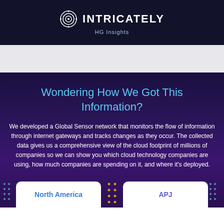INTRICATELY HG Insights
Wondering How We Got This Information?
We developed a Global Sensor network that monitors the flow of information through internet gateways and tracks changes as they occur. The collected data gives us a comprehensive view of the cloud footprint of millions of companies so we can show you which cloud technology companies are using, how much companies are spending on it, and where it's deployed.
North America
APJ